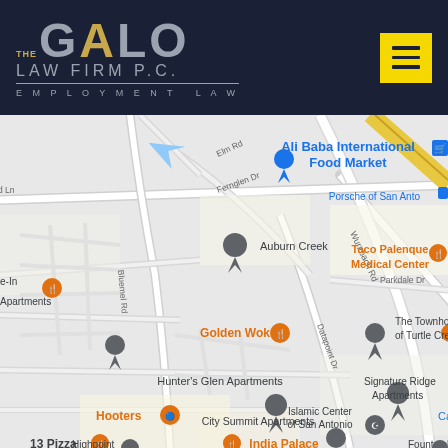THE GALO LAW FIRM P.C. EMPLOYMENT LAW
[Figure (map): Google Maps screenshot showing area around the Galo Law Firm in San Antonio, TX. Visible landmarks include: Ali Baba International Food Market, Porsche of San Antonio, Taco Palenque Medical Center, Auburn Creek, Golden Wok, The Townhomes of Turtle Creek, Hunter's Glen Apartments, Hooters, India Palace, Islamic Center of San Antonio, Signature Ridge Apartments, City Summit Apartments, CarMax (partial), 13 Pizza, Highpoint, Fountainhead (partial). Streets visible include Elm Rd, Bluemel Rd, Fernglen Dr, Wurzbach Rd, Datapoint Dr, Parkdale Dr.]